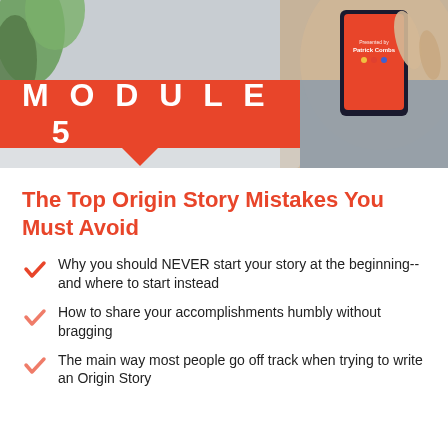[Figure (photo): Photo of hands holding a smartphone showing a red presentation screen, with a plant visible in the upper left. A red banner overlay reads MODULE 5 with a downward triangle pointer.]
The Top Origin Story Mistakes You Must Avoid
Why you should NEVER start your story at the beginning--and where to start instead
How to share your accomplishments humbly without bragging
The main way most people go off track when trying to write an Origin Story